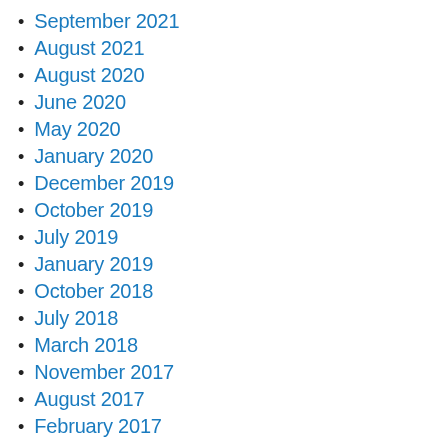September 2021
August 2021
August 2020
June 2020
May 2020
January 2020
December 2019
October 2019
July 2019
January 2019
October 2018
July 2018
March 2018
November 2017
August 2017
February 2017